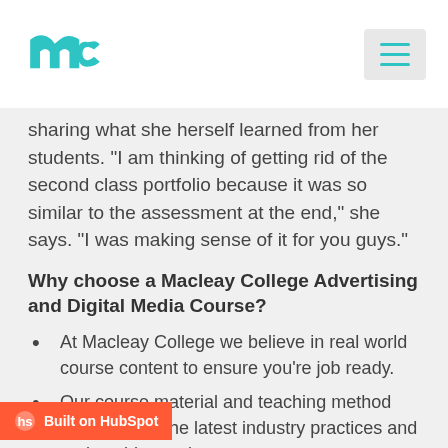Macleay College logo and navigation
sharing what she herself learned from her students. "I am thinking of getting rid of the second class portfolio because it was so similar to the assessment at the end," she says. "I was making sense of it for you guys."
Why choose a Macleay College Advertising and Digital Media Course?
At Macleay College we believe in real world course content to ensure you're job ready.
Our course material and teaching method incorporates the latest industry practices and real world experience.
rs have industry experience and up-to-date knowledge.